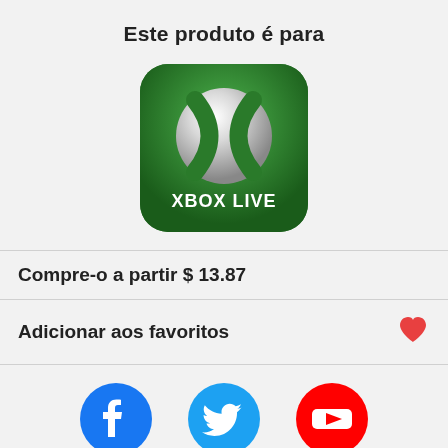Este produto é para
[Figure (logo): Xbox Live app icon — green rounded square with white Xbox sphere logo and 'XBOX LIVE' text]
Compre-o a partir $ 13.87
Adicionar aos favoritos
[Figure (infographic): Social media icons: Facebook (blue circle with f), Twitter (cyan circle with bird), YouTube (red circle with play button), TikTok (partially visible), Instagram (partially visible), Telegram (partially visible). Text: 'Siga-nos para ofertas diárias!']